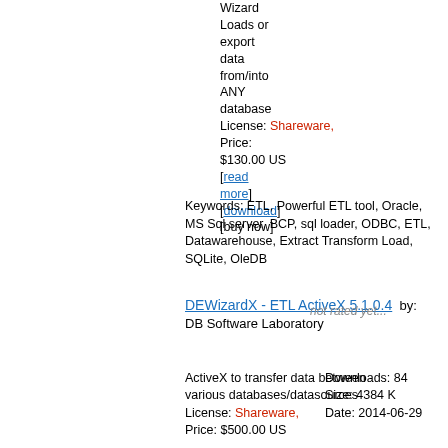Wizard Loads or export data from/into ANY database License: Shareware, Price: $130.00 US [read more] [download] [buy now]
Keywords: ETL, Powerful ETL tool, Oracle, MS Sql server, BCP, sql loader, ODBC, ETL, Datawarehouse, Extract Transform Load, SQLite, OleDB
DEWizardX - ETL ActiveX 5.1.0.4   by: DB Software Laboratory
not rated yet...
ActiveX to transfer data between various databases/datasources License: Shareware, Price: $500.00 US
Downloads: 84 Size: 4384 K Date: 2014-06-29